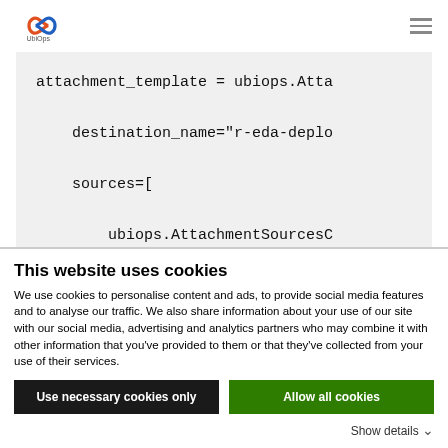UbiOps logo and navigation
[Figure (screenshot): Code snippet showing: attachment_template = ubiops.Atta  destination_name="r-eda-deplo  sources=[  ubiops.AttachmentSourcesC]
This website uses cookies
We use cookies to personalise content and ads, to provide social media features and to analyse our traffic. We also share information about your use of our site with our social media, advertising and analytics partners who may combine it with other information that you've provided to them or that they've collected from your use of their services.
Use necessary cookies only | Allow all cookies
Show details